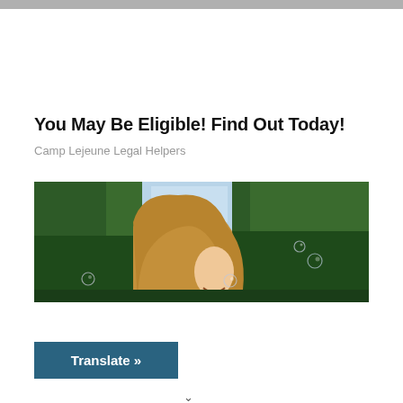You May Be Eligible! Find Out Today!
Camp Lejeune Legal Helpers
[Figure (photo): A smiling young woman with long blonde hair outdoors with green trees in background and soap bubbles floating around her.]
Translate »